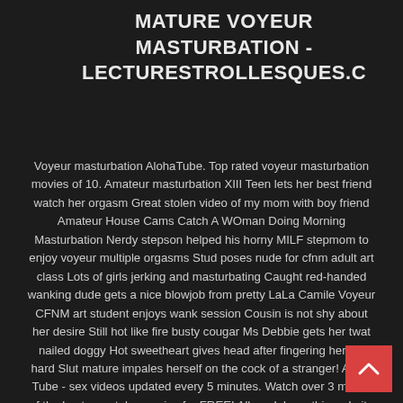MATURE VOYEUR MASTURBATION - LECTURESTROLLESQUES.C
Voyeur masturbation AlohaTube. Top rated voyeur masturbation movies of 10. Amateur masturbation XIII Teen lets her best friend watch her orgasm Great stolen video of my mom with boy friend Amateur House Cams Catch A WOman Doing Morning Masturbation Nerdy stepson helped his horny MILF stepmom to enjoy voyeur multiple orgasms Stud poses nude for cfnm adult art class Lots of girls jerking and masturbating Caught red-handed wanking dude gets a nice blowjob from pretty LaLa Camile Voyeur CFNM art student enjoys wank session Cousin is not shy about her desire Still hot like fire busty cougar Ms Debbie gets her twat nailed doggy Hot sweetheart gives head after fingering herself hard Slut mature impales herself on the cock of a stranger! Aloha Tube - sex videos updated every 5 minutes. Watch over 3 million of the best porn tube movies for FREE! All models on this website are 18 years or older. Disclaimer: AlohaTube.
[Figure (illustration): Red square button with white upward-pointing chevron arrow (back to top button)]